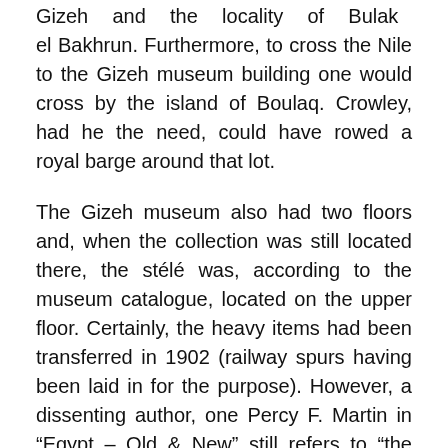Gizeh and the locality of Bulak el Bakhrun. Furthermore, to cross the Nile to the Gizeh museum building one would cross by the island of Boulaq. Crowley, had he the need, could have rowed a royal barge around that lot.
The Gizeh museum also had two floors and, when the collection was still located there, the stélé was, according to the museum catalogue, located on the upper floor. Certainly, the heavy items had been transferred in 1902 (railway spurs having been laid in for the purpose). However, a dissenting author, one Percy F. Martin in “Egypt – Old & New” still refers to “the Gizeh Museum” as if it still existed – in 1923. He wrote of how Egyptology fared during the Great War, and how the English of Egyptians had been polluted by the